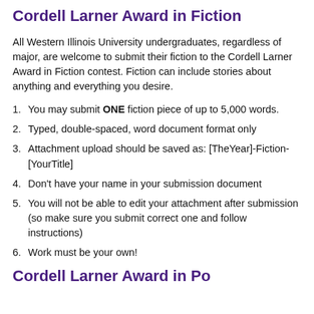Cordell Larner Award in Fiction
All Western Illinois University undergraduates, regardless of major, are welcome to submit their fiction to the Cordell Larner Award in Fiction contest. Fiction can include stories about anything and everything you desire.
1. You may submit ONE fiction piece of up to 5,000 words.
2. Typed, double-spaced, word document format only
3. Attachment upload should be saved as: [TheYear]-Fiction-[YourTitle]
4. Don't have your name in your submission document
5. You will not be able to edit your attachment after submission (so make sure you submit correct one and follow instructions)
6. Work must be your own!
Cordell Larner Award in Poetry